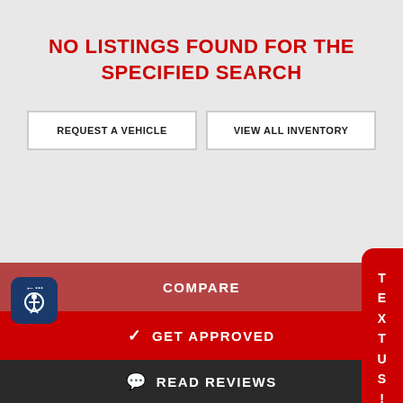NO LISTINGS FOUND FOR THE SPECIFIED SEARCH
REQUEST A VEHICLE
VIEW ALL INVENTORY
TEXT US!
COMPARE
✓ GET APPROVED
READ REVIEWS